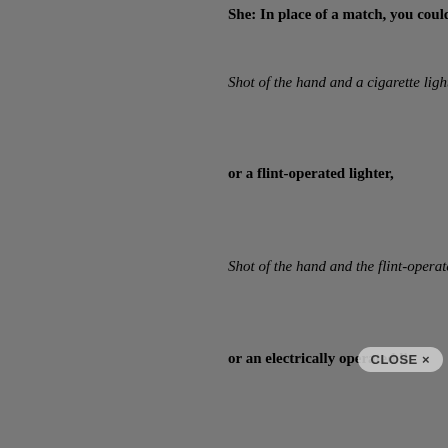She: In place of a match, you could just a
Shot of the hand and a cigarette lighter ligh
or a flint-operated lighter,
Shot of the hand and the flint-operated light
or an electrically operated li
CLOSE ×
[Figure (logo): Brooklyn Rail BR logo, black square with white BR letters]
Sign up for the Brooklyn Rail newsletter
Get notified about upcoming live conversations with artists and when the next issue of the Rail drops.
Sign up